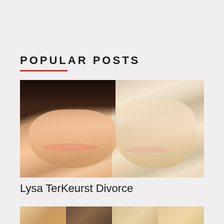POPULAR POSTS
[Figure (photo): A smiling couple: a woman with dark hair on the left and a man on the right, both facing forward in a close-up portrait photo.]
Lysa TerKeurst Divorce
[Figure (photo): A group of four people smiling together in what appears to be a formal or event setting.]